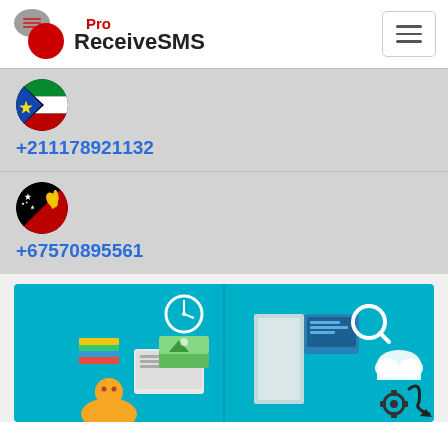[Figure (logo): ReceiveSMS Pro logo with speech bubble icons]
+211178921132
+67570895561
[Figure (illustration): Isometric illustration of people working at computers with search and cloud icons on a teal background]